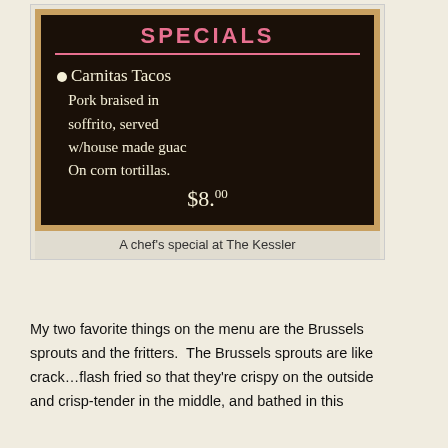[Figure (photo): A chalkboard sign showing a chef's special: Carnitas Tacos – Pork braised in soffrito, served w/house made guac on corn tortillas. $8.00. Title reads SPECIALS in pink chalk.]
A chef's special at The Kessler
My two favorite things on the menu are the Brussels sprouts and the fritters.  The Brussels sprouts are like crack…flash fried so that they're crispy on the outside and crisp-tender in the middle, and bathed in this